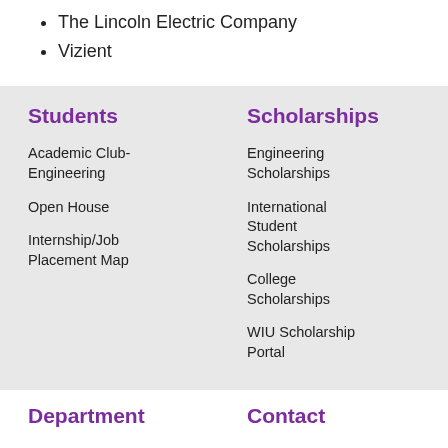The Lincoln Electric Company
Vizient
Students
Scholarships
Academic Club-Engineering
Engineering Scholarships
Open House
International Student Scholarships
Internship/Job Placement Map
College Scholarships
WIU Scholarship Portal
Department
Contact